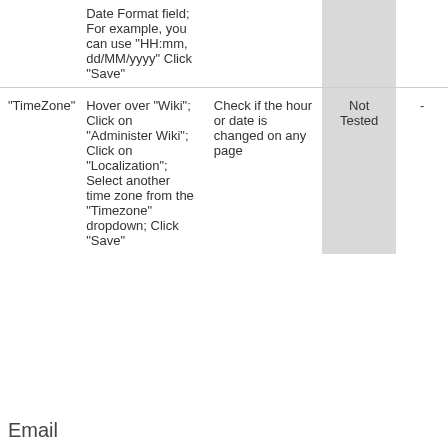|  | Date Format field; For example, you can use "HH:mm, dd/MM/yyyy" Click "Save" |  |  |  |
| "TimeZone" | Hover over "Wiki"; Click on "Administer Wiki"; Click on "Localization"; Select another time zone from the "Timezone" dropdown; Click "Save" | Check if the hour or date is changed on any page | Not Tested | - |
Email